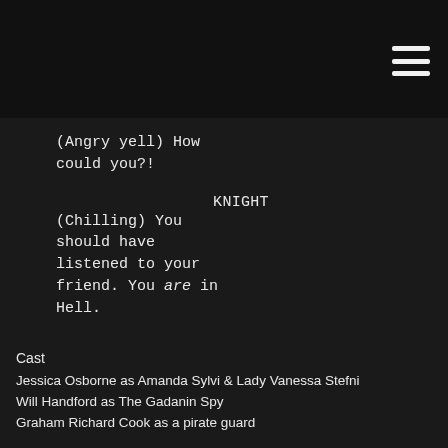(Angry yell) How could you?!
KNIGHT
(Chilling) You should have listened to your friend. You are in Hell.
Cast
Jessica Osborne as Amanda Sylvi & Lady Vanessa Stefni
Will Handford as The Gadanin Spy
Graham Richard Cook as a pirate guard